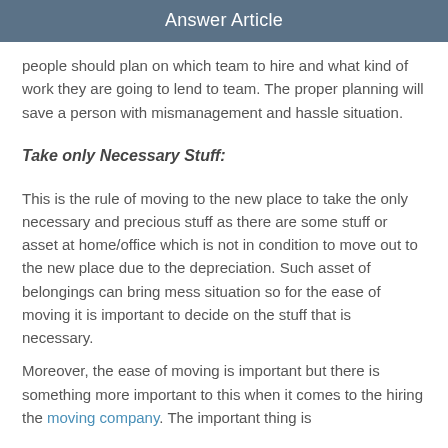Answer Article
people should plan on which team to hire and what kind of work they are going to lend to team. The proper planning will save a person with mismanagement and hassle situation.
Take only Necessary Stuff:
This is the rule of moving to the new place to take the only necessary and precious stuff as there are some stuff or asset at home/office which is not in condition to move out to the new place due to the depreciation. Such asset of belongings can bring mess situation so for the ease of moving it is important to decide on the stuff that is necessary.
Moreover, the ease of moving is important but there is something more important to this when it comes to the hiring the moving company. The important thing is